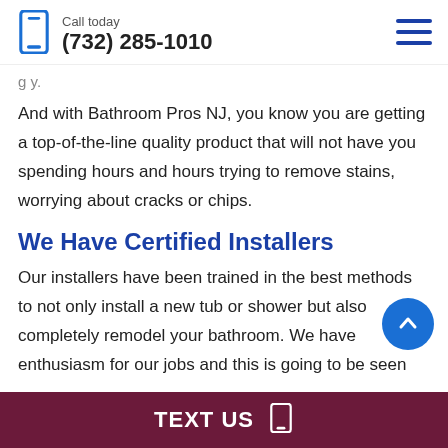Call today (732) 285-1010
And with Bathroom Pros NJ, you know you are getting a top-of-the-line quality product that will not have you spending hours and hours trying to remove stains, worrying about cracks or chips.
We Have Certified Installers
Our installers have been trained in the best methods to not only install a new tub or shower but also completely remodel your bathroom. We have enthusiasm for our jobs and this is going to be seen
TEXT US